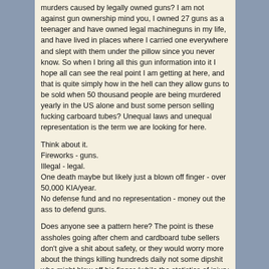murders caused by legally owned guns? I am not against gun ownership mind you, I owned 27 guns as a teenager and have owned legal machineguns in my life, and have lived in places where I carried one everywhere and slept with them under the pillow since you never know. So when I bring all this gun information into it I hope all can see the real point I am getting at here, and that is quite simply how in the hell can they allow guns to be sold when 50 thousand people are being murdered yearly in the US alone and bust some person selling fucking carboard tubes? Unequal laws and unequal representation is the term we are looking for here.
Think about it.
Fireworks - guns.
Illegal - legal.
One death maybe but likely just a blown off finger - over 50,000 KIA/year.
No defense fund and no representation - money out the ass to defend guns.
Does anyone see a pattern here? The point is these assholes going after chem and cardboard tube sellers don't give a shit about safety, or they would worry more about the things killing hundreds daily not some dipshit who might blow off his finger (while the statistics of injury or death to the fireworks hobby is impressively lower than guns, sports, going to school, riding a school bus to school or a football game, a football game, and so on ... you get the point). Lets see, what else can we add to the list which they think nothing of that has ten thousand percent greater injuiries/year than home made fireworks